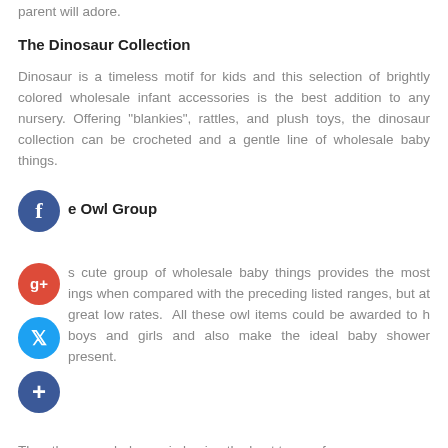parent will adore.
The Dinosaur Collection
Dinosaur is a timeless motif for kids and this selection of brightly colored wholesale infant accessories is the best addition to any nursery. Offering "blankies", rattles, and plush toys, the dinosaur collection can be crocheted and a gentle line of wholesale baby things.
e Owl Group
s cute group of wholesale baby things provides the most ings when compared with the preceding listed ranges, but at great low rates. All these owl items could be awarded to h boys and girls and also make the ideal baby shower present.
Thus these can help you in buying the best types of